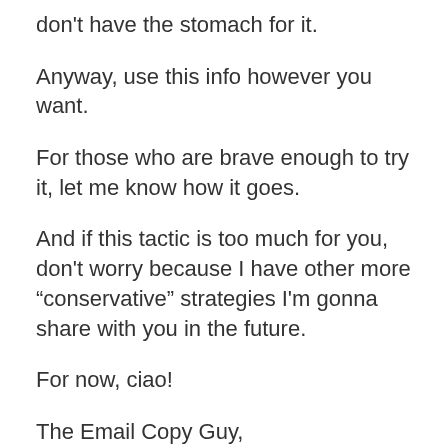don’t have the stomach for it.
Anyway, use this info however you want.
For those who are brave enough to try it, let me know how it goes.
And if this tactic is too much for you, don’t worry because I have other more “conservative” strategies I’m gonna share with you in the future.
For now, ciao!
The Email Copy Guy,